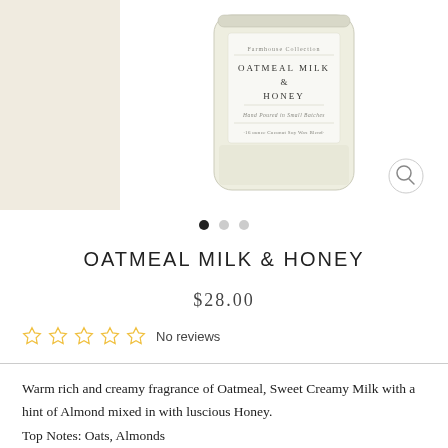[Figure (photo): A glass candle jar labeled 'Oatmeal Milk & Honey' from the Farmhouse Collection, hand poured in small batches, 16 ounce Coconut Soy Wax Blend, shown on a white background with a beige sidebar on the left.]
OATMEAL MILK & HONEY
$28.00
☆ ☆ ☆ ☆ ☆ No reviews
Warm rich and creamy fragrance of Oatmeal, Sweet Creamy Milk with a hint of Almond mixed in with luscious Honey.
Top Notes: Oats, Almonds